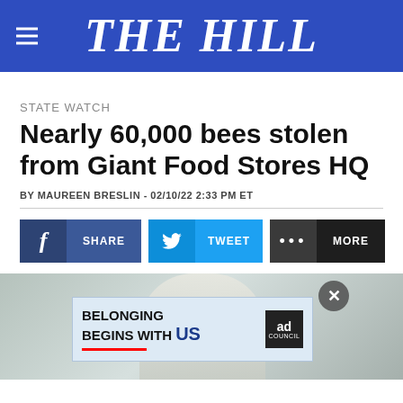THE HILL
STATE WATCH
Nearly 60,000 bees stolen from Giant Food Stores HQ
BY MAUREEN BRESLIN - 02/10/22 2:33 PM ET
[Figure (screenshot): Social share buttons: Facebook SHARE, Twitter TWEET, and MORE buttons in a row]
[Figure (photo): Partial photo of a beekeeper in white protective gear, with an ad overlay reading BELONGING BEGINS WITH US (Ad Council)]